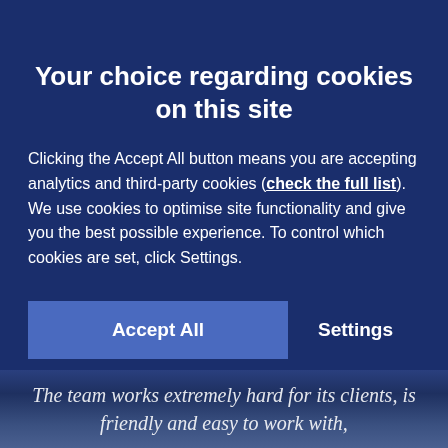Your choice regarding cookies on this site
Clicking the Accept All button means you are accepting analytics and third-party cookies (check the full list). We use cookies to optimise site functionality and give you the best possible experience. To control which cookies are set, click Settings.
Accept All   Settings
The team works extremely hard for its clients, is friendly and easy to work with,